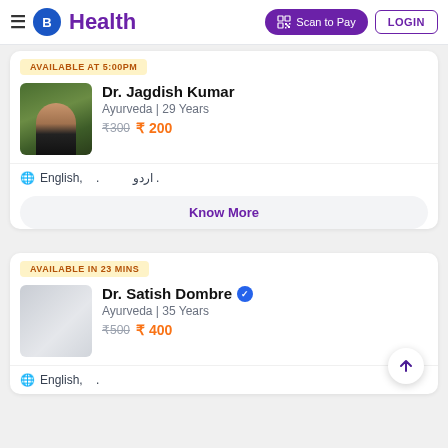B Health — Scan to Pay | LOGIN
AVAILABLE AT 5:00PM
Dr. Jagdish Kumar
Ayurveda | 29 Years
₹300 ₹200
English, . اردو .
Know More
AVAILABLE IN 23 MINS
Dr. Satish Dombre ✓
Ayurveda | 35 Years
₹500 ₹400
English, .